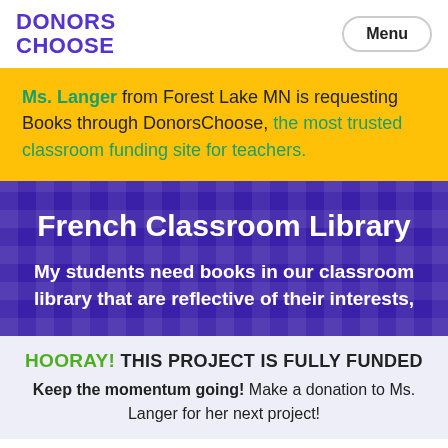DONORS CHOOSE
Ms. Langer from Forest Lake MN is requesting Books through DonorsChoose, the most trusted classroom funding site for teachers.
French Classroom Library
My students need books in our classroom library that are reflective of their interests,
HOORAY! THIS PROJECT IS FULLY FUNDED
Keep the momentum going! Make a donation to Ms. Langer for her next project!
Help Ms. Langer